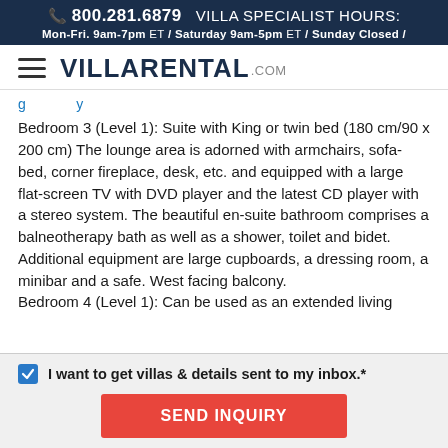📞 800.281.6879  VILLA SPECIALIST HOURS: Mon-Fri. 9am-7pm ET / Saturday 9am-5pm ET / Sunday Closed /
[Figure (logo): VillaRental.com logo with hamburger menu icon]
Bedroom 3 (Level 1): Suite with King or twin bed (180 cm/90 x 200 cm) The lounge area is adorned with armchairs, sofa-bed, corner fireplace, desk, etc. and equipped with a large flat-screen TV with DVD player and the latest CD player with a stereo system. The beautiful en-suite bathroom comprises a balneotherapy bath as well as a shower, toilet and bidet. Additional equipment are large cupboards, a dressing room, a minibar and a safe. West facing balcony. Bedroom 4 (Level 1): Can be used as an extended living
I want to get villas & details sent to my inbox.*
SEND INQUIRY